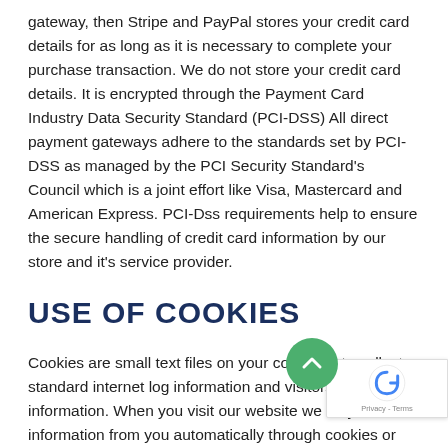gateway, then Stripe and PayPal stores your credit card details for as long as it is necessary to complete your purchase transaction. We do not store your credit card details. It is encrypted through the Payment Card Industry Data Security Standard (PCI-DSS) All direct payment gateways adhere to the standards set by PCI-DSS as managed by the PCI Security Standard's Council which is a joint effort like Visa, Mastercard and American Express. PCI-Dss requirements help to ensure the secure handling of credit card information by our store and it's service provider.
USE OF COOKIES
Cookies are small text files on your computer to collect standard internet log information and visitors behaviour information. When you visit our website we may collect information from you automatically through cookies or similar technology – for information visit – allaboutcookies.org
Arte Ideas use cookies for a variety of reasons, such as to